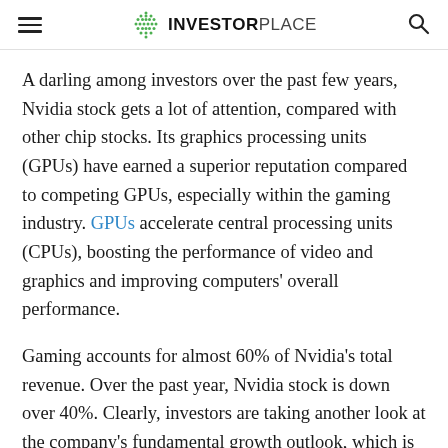INVESTORPLACE
A darling among investors over the past few years, Nvidia stock gets a lot of attention, compared with other chip stocks. Its graphics processing units (GPUs) have earned a superior reputation compared to competing GPUs, especially within the gaming industry. GPUs accelerate central processing units (CPUs), boosting the performance of video and graphics and improving computers’ overall performance.
Gaming accounts for almost 60% of Nvidia’s total revenue. Over the past year, Nvidia stock is down over 40%. Clearly, investors are taking another look at the company’s fundamental growth outlook, which is based on its GPUs for gaming and artificial intelligence